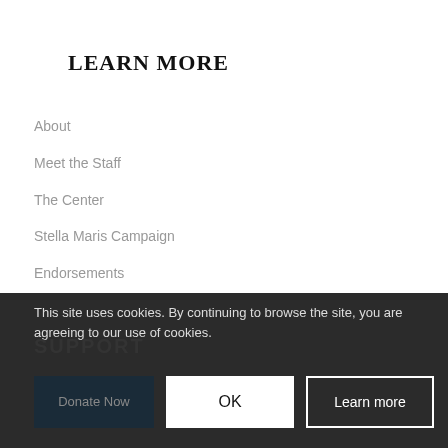LEARN MORE
About
Meet the Staff
The Center
Stella Maris Campaign
Endorsements
Board of Directors
Contact Information
This site uses cookies. By continuing to browse the site, you are agreeing to our use of cookies.
SUPPORT
Donate Now
OK
Learn more